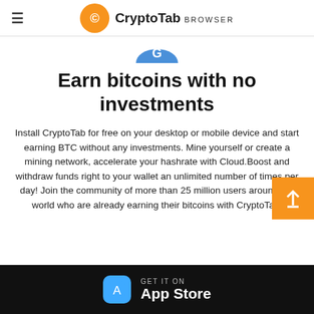CryptoTab BROWSER
[Figure (logo): CryptoTab Browser logo with orange circle and white C icon]
Earn bitcoins with no investments
Install CryptoTab for free on your desktop or mobile device and start earning BTC without any investments. Mine yourself or create a mining network, accelerate your hashrate with Cloud.Boost and withdraw funds right to your wallet an unlimited number of times per day! Join the community of more than 25 million users around the world who are already earning their bitcoins with CryptoTab!
[Figure (logo): App Store badge on black background with blue App Store icon]